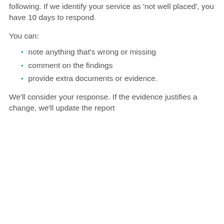following. If we identify your service as 'not well placed', you have 10 days to respond.
You can:
note anything that's wrong or missing
comment on the findings
provide extra documents or evidence.
We'll consider your response. If the evidence justifies a change, we'll update the report